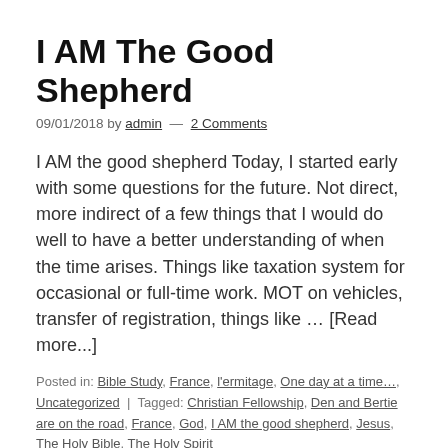I AM The Good Shepherd
09/01/2018 by admin — 2 Comments
I AM the good shepherd Today, I started early with some questions for the future. Not direct, more indirect of a few things that I would do well to have a better understanding of when the time arises. Things like taxation system for occasional or full-time work. MOT on vehicles, transfer of registration, things like … [Read more...]
Posted in: Bible Study, France, l'ermitage, One day at a time..., Uncategorized  |  Tagged: Christian Fellowship, Den and Bertie are on the road, France, God, I AM the good shepherd, Jesus, The Holy Bible, The Holy Spirit